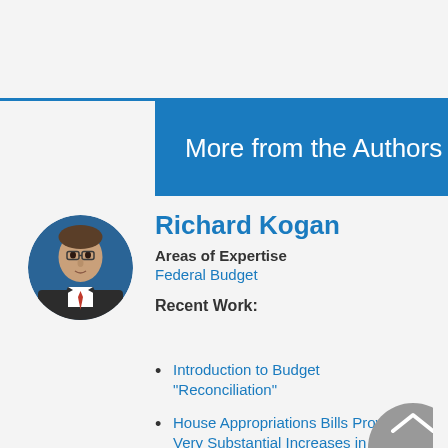More from the Authors
[Figure (photo): Circular headshot photo of Richard Kogan, a man in a suit with a red tie against a blue background]
Richard Kogan
Areas of Expertise
Federal Budget
Recent Work:
Introduction to Budget “Reconciliation”
House Appropriations Bills Provide Very Substantial Increases in Programs fo…